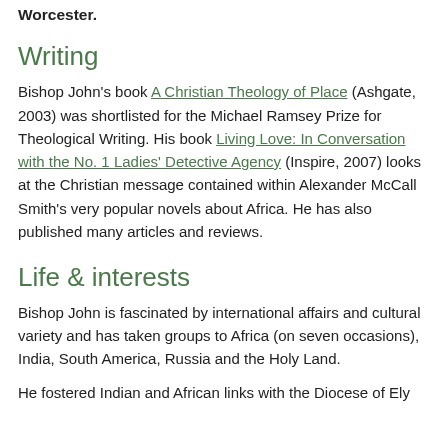Worcester.
Writing
Bishop John's book A Christian Theology of Place (Ashgate, 2003) was shortlisted for the Michael Ramsey Prize for Theological Writing. His book Living Love: In Conversation with the No. 1 Ladies' Detective Agency (Inspire, 2007) looks at the Christian message contained within Alexander McCall Smith's very popular novels about Africa. He has also published many articles and reviews.
Life & interests
Bishop John is fascinated by international affairs and cultural variety and has taken groups to Africa (on seven occasions), India, South America, Russia and the Holy Land.
He fostered Indian and African links with the Diocese of Ely